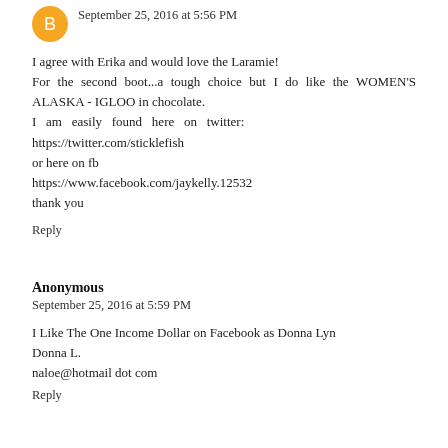September 25, 2016 at 5:56 PM
I agree with Erika and would love the Laramie!
For the second boot...a tough choice but I do like the WOMEN'S ALASKA - IGLOO in chocolate.
I am easily found here on twitter: https://twitter.com/sticklefish
or here on fb
https://www.facebook.com/jaykelly.12532
thank you
Reply
Anonymous
September 25, 2016 at 5:59 PM
I Like The One Income Dollar on Facebook as Donna Lyn
Donna L.
naloe@hotmail dot com
Reply
Anonymous